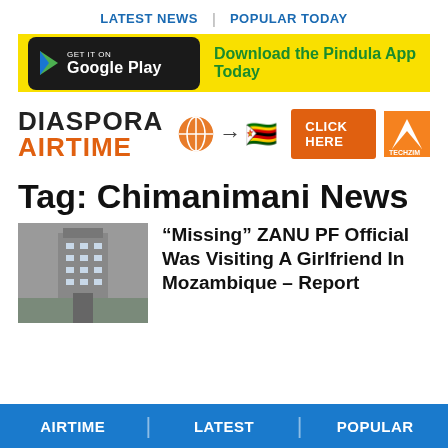LATEST NEWS | POPULAR TODAY
[Figure (infographic): Yellow banner with Google Play button and text: Download the Pindula App Today]
[Figure (infographic): Diaspora Airtime advertisement banner with globe icon, arrow, Zimbabwe flag, CLICK HERE button, and Techzim logo]
Tag: Chimanimani News
[Figure (photo): Photo of a tall building in Zimbabwe]
“Missing” ZANU PF Official Was Visiting A Girlfriend In Mozambique – Report
AIRTIME | LATEST | POPULAR